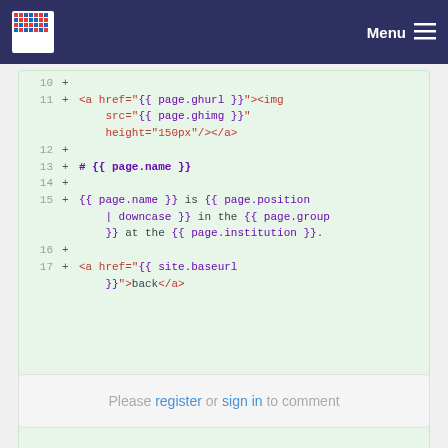Menu
[Figure (screenshot): Code diff view showing lines 10-17 of a Jekyll/Liquid template file with green background. Lines show HTML/Markdown with Liquid template tags including page.ghurl, page.ghimg, page.name, page.position, page.group, page.institution, and site.baseurl variables.]
Please register or sign in to comment